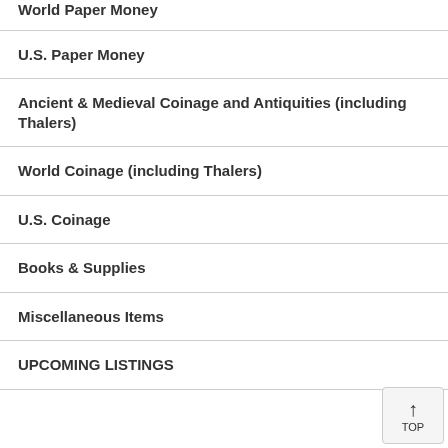World Paper Money
U.S. Paper Money
Ancient & Medieval Coinage and Antiquities (including Thalers)
World Coinage (including Thalers)
U.S. Coinage
Books & Supplies
Miscellaneous Items
UPCOMING LISTINGS